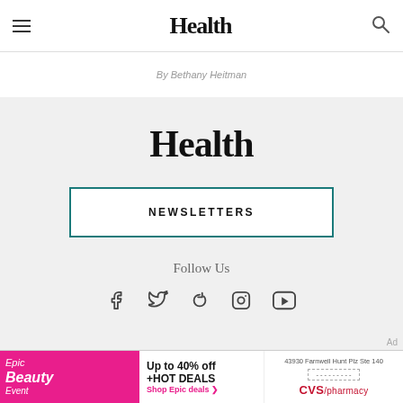Health
By Bethany Heitman
Health
NEWSLETTERS
Follow Us
[Figure (other): Social media icons: Facebook, Twitter, Pinterest, Instagram, YouTube]
Ad
[Figure (other): Ad banner: Epic Beauty Event - Up to 40% off +HOT DEALS Shop Epic deals. CVS/pharmacy 43930 Farnwell Hunt Plz Ste 140]